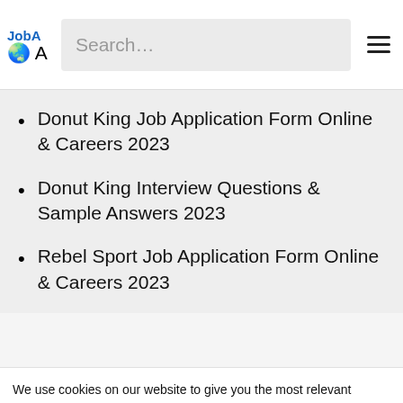JobA A Search... (navigation bar)
Donut King Job Application Form Online & Careers 2023
Donut King Interview Questions & Sample Answers 2023
Rebel Sport Job Application Form Online & Careers 2023
We use cookies on our website to give you the most relevant experience by remembering your preferences and repeat visits. By clicking "Accept All", you consent to the use of ALL the cookies. However, you may visit "Cookie Settings" to provide a controlled consent.